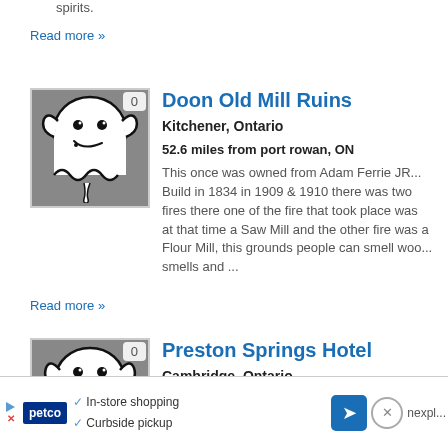spirits.
Read more »
[Figure (illustration): Ghost cartoon icon on grey background with badge showing 0]
Doon Old Mill Ruins
Kitchener, Ontario
52.6 miles from port rowan, ON
This once was owned from Adam Ferrie JR... Build in 1834 in 1909 & 1910 there was two fires there one of the fire that took place was at that time a Saw Mill and the other fire was a Flour Mill, this grounds people can smell woo... smells and ...
Read more »
[Figure (illustration): Ghost cartoon icon on grey background with badge showing 0]
Preston Springs Hotel
Cambridge, Ontario
53.1 miles from port rowan, ON
[Figure (other): Petco advertisement banner with in-store shopping and curbside pickup options]